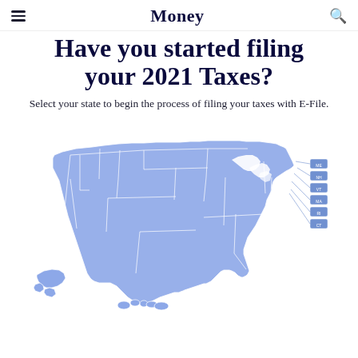Money
Have you started filing your 2021 Taxes?
Select your state to begin the process of filing your taxes with E-File.
[Figure (map): Interactive map of the United States (including Alaska and Hawaii insets) shown in periwinkle/light blue color, with state borders in white. Small state abbreviation boxes visible on the east coast for smaller states. The map is used to allow users to select their state to begin filing taxes.]